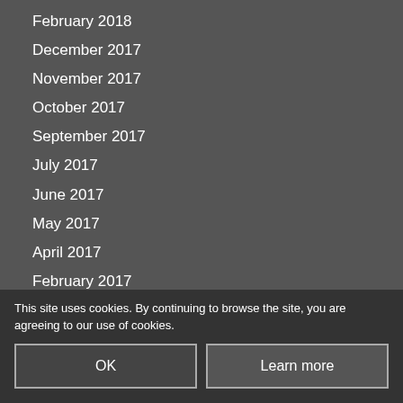February 2018
December 2017
November 2017
October 2017
September 2017
July 2017
June 2017
May 2017
April 2017
February 2017
December 2016
November 2016
October 2016
August 2016
May 2016
April 2016
This site uses cookies. By continuing to browse the site, you are agreeing to our use of cookies.